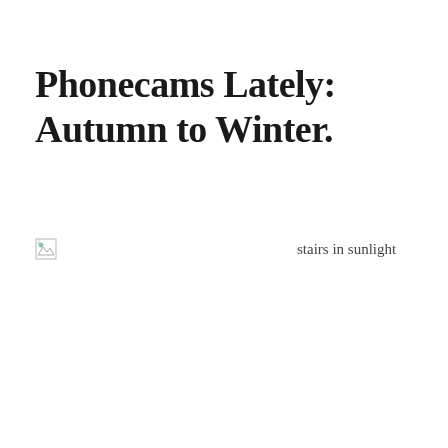Phonecams Lately: Autumn to Winter.
[Figure (photo): Broken image placeholder with alt text 'stairs in sunlight']